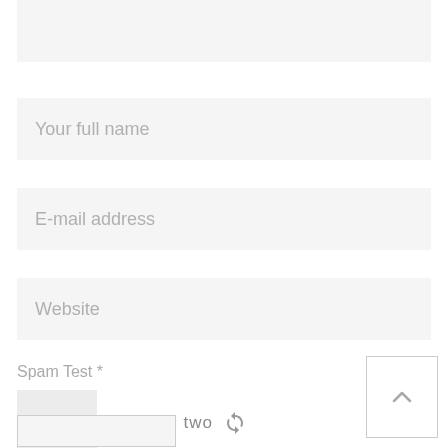[Figure (screenshot): Textarea/comment input box at the top of the form, shown as a light gray rectangle]
Your full name
E-mail address
Website
Spam Test *
[Figure (other): Spam test widget: a small gray input box followed by the equation '— five = two' and a refresh icon]
[Figure (other): Scroll-to-top button: a square with an upward-pointing caret/chevron icon]
[Figure (other): Answer input field for spam test at the bottom]